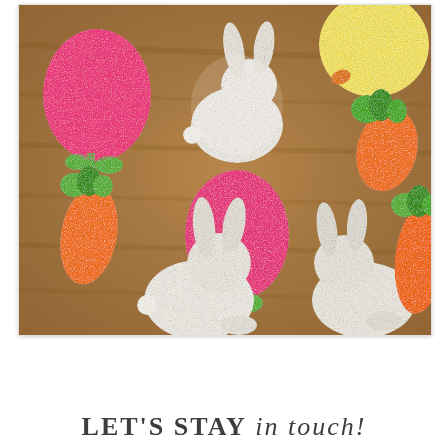[Figure (photo): Easter sugar cookies arranged on a wooden cutting board. Cookies are shaped as bunnies (white/silver sugar), tulips (pink sugar), carrots (orange sugar with green frosting tops), and a chick (yellow). Multiple cookies visible in an overhead flat-lay style photo.]
LET'S STAY in touch!